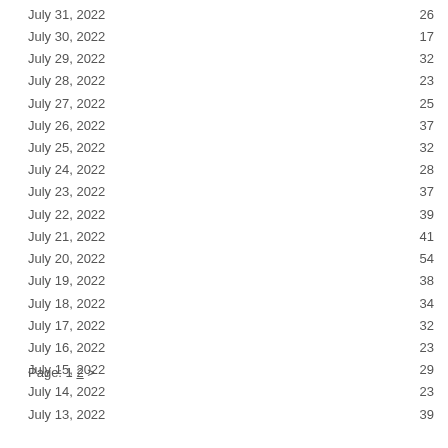| Date | Value |
| --- | --- |
| July 31, 2022 | 26 |
| July 30, 2022 | 17 |
| July 29, 2022 | 32 |
| July 28, 2022 | 23 |
| July 27, 2022 | 25 |
| July 26, 2022 | 37 |
| July 25, 2022 | 32 |
| July 24, 2022 | 28 |
| July 23, 2022 | 37 |
| July 22, 2022 | 39 |
| July 21, 2022 | 41 |
| July 20, 2022 | 54 |
| July 19, 2022 | 38 |
| July 18, 2022 | 34 |
| July 17, 2022 | 32 |
| July 16, 2022 | 23 |
| July 15, 2022 | 29 |
| July 14, 2022 | 23 |
| July 13, 2022 | 39 |
Page: 1 2 >